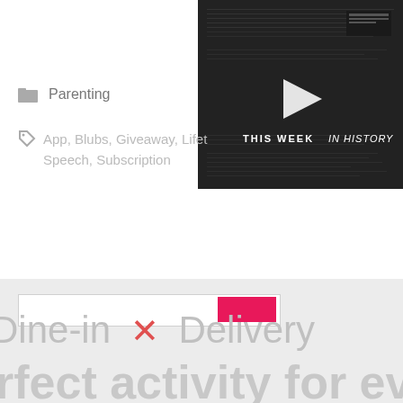[Figure (screenshot): Video thumbnail with dark background showing 'THIS WEEK IN HISTORY' text with a play button]
Parenting
App, Blubs, Giveaway, Lifet... Speech, Subscription
Dine-in × Delivery
rfect activity for everyone